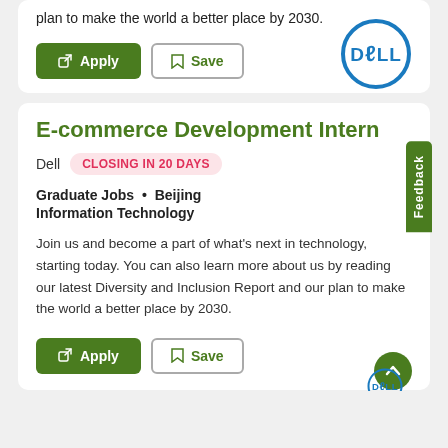plan to make the world a better place by 2030.
Apply
Save
[Figure (logo): Dell logo - blue circle with Dell wordmark]
E-commerce Development Intern
Dell   CLOSING IN 20 DAYS
Graduate Jobs  •  Beijing
Information Technology
Join us and become a part of what's next in technology, starting today. You can also learn more about us by reading our latest Diversity and Inclusion Report and our plan to make the world a better place by 2030.
[Figure (logo): Dell logo - blue circle with Dell wordmark (partial, bottom)]